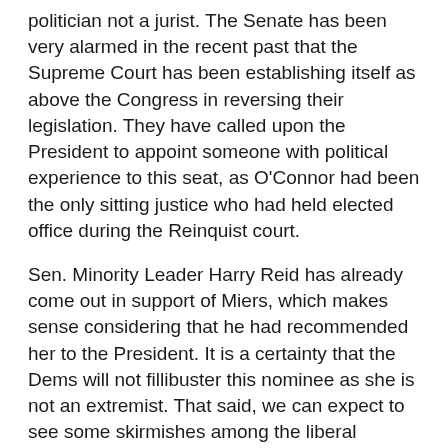politician not a jurist. The Senate has been very alarmed in the recent past that the Supreme Court has been establishing itself as above the Congress in reversing their legislation. They have called upon the President to appoint someone with political experience to this seat, as O'Connor had been the only sitting justice who had held elected office during the Reinquist court.
Sen. Minority Leader Harry Reid has already come out in support of Miers, which makes sense considering that he had recommended her to the President. It is a certainty that the Dems will not fillibuster this nominee as she is not an extremist. That said, we can expect to see some skirmishes among the liberal Senators as they point out that this is another example of Bush cronyism (see Browwn, Michael - FEMA). There will also likely be disputes over the fact that the White House will seek to hide as many documents as possible (claiming privileged communications), and that she does not have a large record and will not be forthcoming. This is very alarming to the future of Congressional power and echoes the concerns that have been raised in the Bolton and Roberts confirmations. The claim to a check and